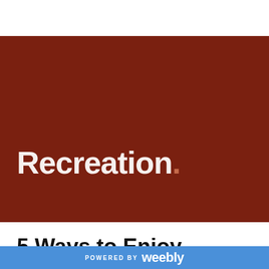[Figure (illustration): Dark brown/maroon rectangular banner with the word 'Recreation.' in large white bold text, with the period rendered in a lighter brownish-orange color.]
5 Ways to Enjoy Wyoming's Least
POWERED BY weebly